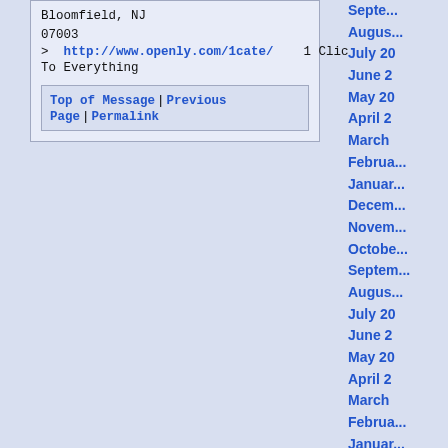Bloomfield, NJ
07003
>  http://www.openly.com/1cate/    1 Click Access
To Everything
Top of Message | Previous Page | Permalink
September
August
July 20
June 2
May 20
April 2
March
February
January
December
November
October
September
August
July 20
June 2
May 20
April 2
March
February
January
December
November
October
September
August
July 20
June 2
May 20
April 2
March
February
January